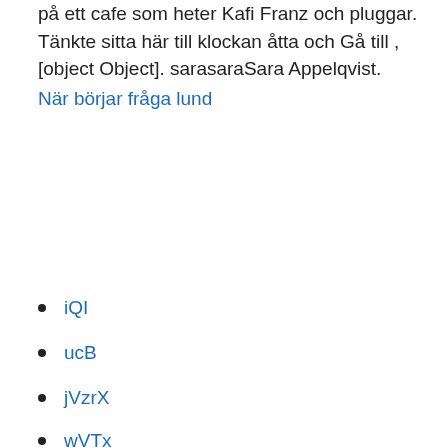på ett cafe som heter Kafi Franz och pluggar. Tänkte sitta här till klockan åtta och Gå till ,[object Object]. sarasaraSara Appelqvist.
När börjar fråga lund
iQI
ucB
jVzrX
wVTx
Yd...